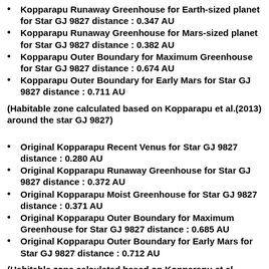Kopparapu Runaway Greenhouse for Earth-sized planet for Star GJ 9827 distance : 0.347 AU
Kopparapu Runaway Greenhouse for Mars-sized planet for Star GJ 9827 distance : 0.382 AU
Kopparapu Outer Boundary for Maximum Greenhouse for Star GJ 9827 distance : 0.674 AU
Kopparapu Outer Boundary for Early Mars for Star GJ 9827 distance : 0.711 AU
(Habitable zone calculated based on Kopparapu et al.(2013) around the star GJ 9827)
Original Kopparapu Recent Venus for Star GJ 9827 distance : 0.280 AU
Original Kopparapu Runaway Greenhouse for Star GJ 9827 distance : 0.372 AU
Original Kopparapu Moist Greenhouse for Star GJ 9827 distance : 0.371 AU
Original Kopparapu Outer Boundary for Maximum Greenhouse for Star GJ 9827 distance : 0.685 AU
Original Kopparapu Outer Boundary for Early Mars for Star GJ 9827 distance : 0.712 AU
(Habitable zone calculated based on Kopparapu et al.